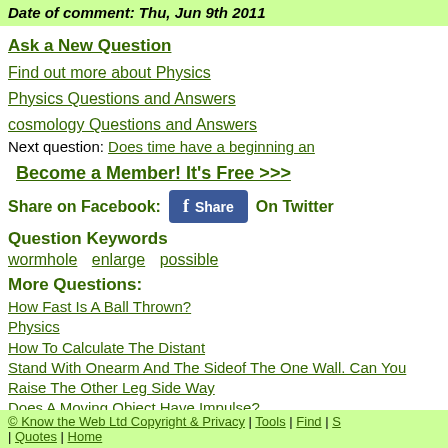Date of comment: Thu, Jun 9th 2011
Ask a New Question
Find out more about Physics
Physics Questions and Answers
cosmology Questions and Answers
Next question: Does time have a beginning an...
Become a Member! It's Free >>>
Share on Facebook: [fb button] On Twitter
Question Keywords
wormhole
enlarge
possible
More Questions:
How Fast Is A Ball Thrown?
Physics
How To Calculate The Distant
Stand With Onearm And The Sideof The One Wall. Can You Raise The Other Leg Side Way
Does A Moving Object Have Impulse?
© Know the Web Ltd Copyright & Privacy | Tools | Find | S... | Quotes | Home